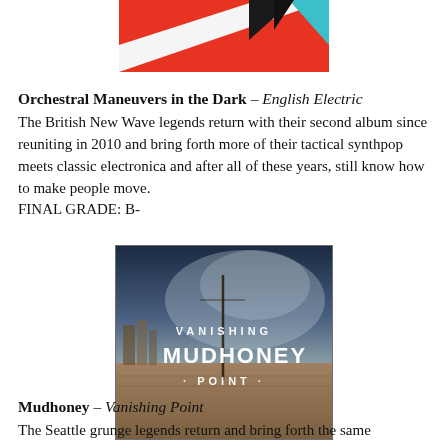[Figure (illustration): Partial album cover art — geometric shapes in red, black and cyan/blue on white background, cropped at top]
Orchestral Maneuvers in the Dark – English Electric
The British New Wave legends return with their second album since reuniting in 2010 and bring forth more of their tactical synthpop meets classic electronica and after all of these years, still know how to make people move.
FINAL GRADE: B-
[Figure (photo): Album cover for Mudhoney – Vanishing Point: an outdoor/ruins scene with dramatic cloudy sky, text reads VANISHING MUDHONEY POINT in white letters]
Mudhoney – Vanishing Point
The Seattle grunge legends return and bring forth the same